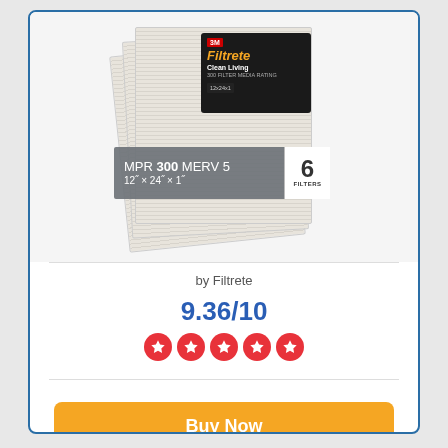[Figure (photo): Product photo of 3M Filtrete Clean Living air filters, MPR 300 MERV 5, 12x24x1 inches, pack of 6 filters shown stacked with brand label visible]
by Filtrete
9.36/10
[Figure (other): Five red circle star rating icons]
Buy Now